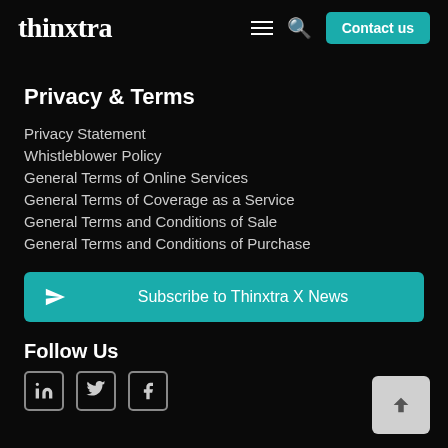thinxtra | Contact us
Privacy & Terms
Privacy Statement
Whistleblower Policy
General Terms of Online Services
General Terms of Coverage as a Service
General Terms and Conditions of Sale
General Terms and Conditions of Purchase
Subscribe to Thinxtra X News
Follow Us